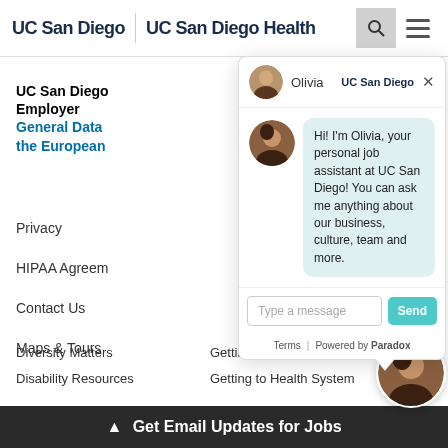UC San Diego | UC San Diego Health
UC San Diego Employer
General Data
the European
Privacy
HIPAA Agreem
Contact Us
Maps & Tours
[Figure (screenshot): Chat widget showing Olivia, a UC San Diego job assistant chatbot. The chat bubble reads: Hi! I'm Olivia, your personal job assistant at UC San Diego! You can ask me anything about our business, culture, team and more. Below is a text input field with placeholder 'Type a message' and a cyan Send button. Footer shows Terms | Powered by Paradox.]
Diversity Matters
Disability Resources
Getting to Campus
Getting to Health System
▲ Get Email Updates for Jobs